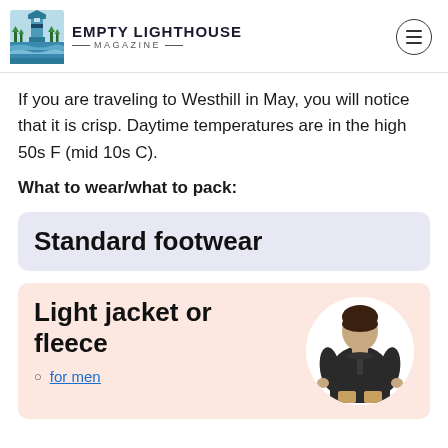Empty Lighthouse Magazine
If you are traveling to Westhill in May, you will notice that it is crisp. Daytime temperatures are in the high 50s F (mid 10s C).
What to wear/what to pack:
Standard footwear
Light jacket or fleece
for men